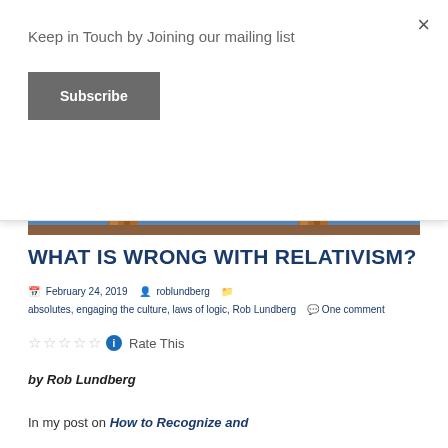Keep in Touch by Joining our mailing list
Subscribe
[Figure (photo): Partial view of wooden pillars or columns against a blue sky with clouds]
WHAT IS WRONG WITH RELATIVISM?
February 24, 2019  roblundberg  absolutes, engaging the culture, laws of logic, Rob Lundberg  One comment
Rate This
by Rob Lundberg
In my post on How to Recognize and